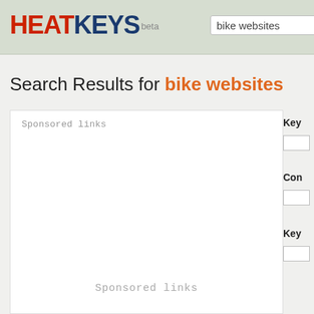HEATKEYS beta — search box: bike websites
Search Results for bike websites
Sponsored links
Sponsored links
Key
Con
Key